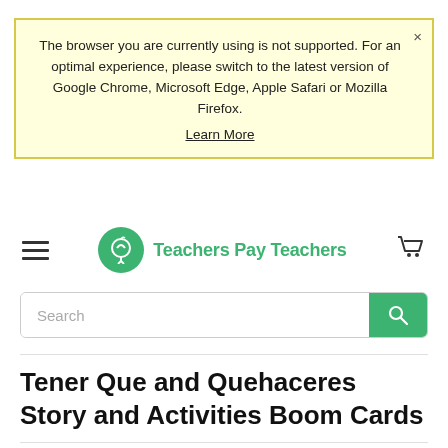The browser you are currently using is not supported. For an optimal experience, please switch to the latest version of Google Chrome, Microsoft Edge, Apple Safari or Mozilla Firefox. Learn More
[Figure (logo): Teachers Pay Teachers logo with green circle and apple icon, green text 'Teachers Pay Teachers']
Search
Tener Que and Quehaceres Story and Activities Boom Cards